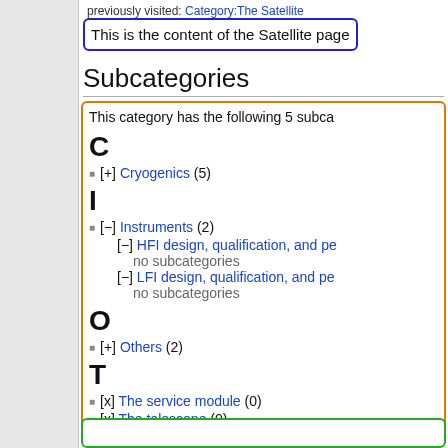previously visited: Category:The Satellite
This is the content of the Satellite page
Subcategories
This category has the following 5 subcategories
C
[+] Cryogenics (5)
I
[−] Instruments (2)
[−] HFI design, qualification, and pe...
no subcategories
[−] LFI design, qualification, and pe...
no subcategories
O
[+] Others (2)
T
[x] The service module (0)
[x] The telescope (0)